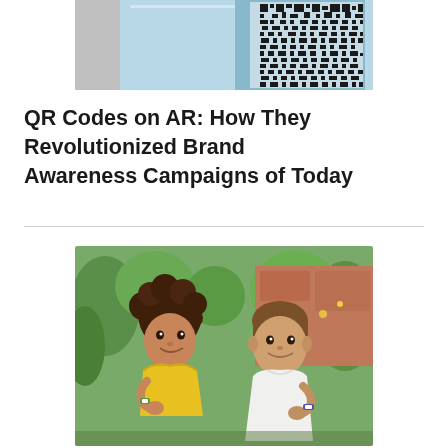[Figure (photo): Close-up photo of a smartphone displaying a QR code on a light blue background]
QR Codes on AR: How They Revolutionized Brand Awareness Campaigns of Today
[Figure (photo): Photo of two young children, a girl in a yellow dress and a boy in a white shirt, both wearing watches, sitting outdoors with greenery in the background]